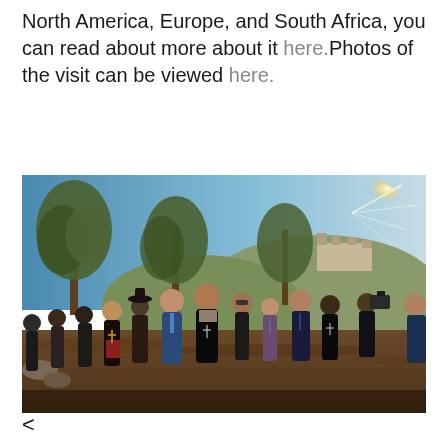North America, Europe, and South Africa, you can read about more about it here. Photos of the visit can be viewed here.
[Figure (photo): Group of people standing outdoors among olive trees with a hillside structure visible in the background and bright sunlight. Several clergy members with crosses visible among the group.]
<